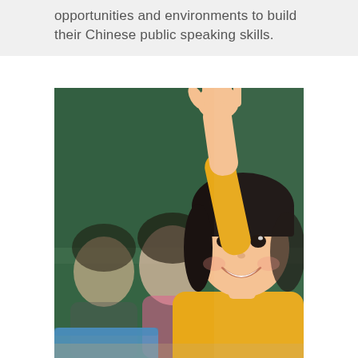opportunities and environments to build their Chinese public speaking skills.
[Figure (photo): A young Asian girl in a yellow sweater smiling and raising her hand in a classroom. Behind her, other students are visible, one wearing a pink sweater. A green chalkboard is visible in the background.]